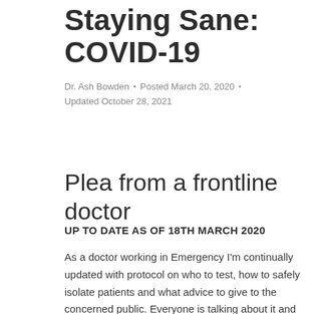Staying Active, Staying Sane: COVID-19
Dr. Ash Bowden • Posted March 20, 2020 •
Updated October 28, 2021
Plea from a frontline doctor
UP TO DATE AS OF 18TH MARCH 2020
As a doctor working in Emergency I'm continually updated with protocol on who to test, how to safely isolate patients and what advice to give to the concerned public. Everyone is talking about it and with this, a palpable stress is rising as we prepare for an unprecedented strain on our healthcare system.